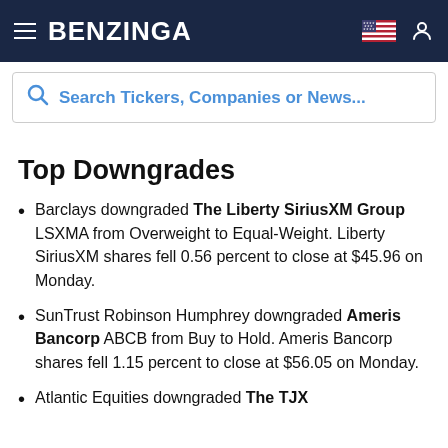BENZINGA
Search Tickers, Companies or News...
Top Downgrades
Barclays downgraded The Liberty SiriusXM Group LSXMA from Overweight to Equal-Weight. Liberty SiriusXM shares fell 0.56 percent to close at $45.96 on Monday.
SunTrust Robinson Humphrey downgraded Ameris Bancorp ABCB from Buy to Hold. Ameris Bancorp shares fell 1.15 percent to close at $56.05 on Monday.
Atlantic Equities downgraded The TJX